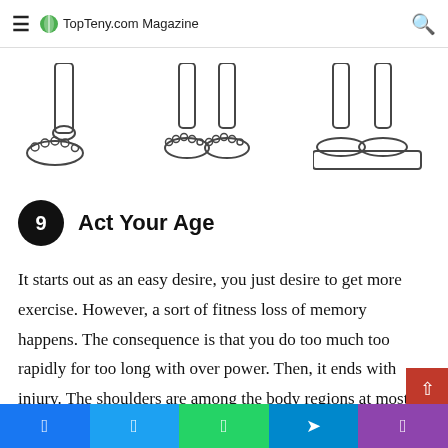TopTeny.com Magazine
[Figure (illustration): Three line-art illustrations of human lower legs and feet showing different foot positions/stances]
9 Act Your Age
It starts out as an easy desire, you just desire to get more exercise. However, a sort of fitness loss of memory happens. The consequence is that you do too much too rapidly for too long with over power. Then, it ends with injury. The shoulders are among the body regions at most risk when old athletic dreams stick in